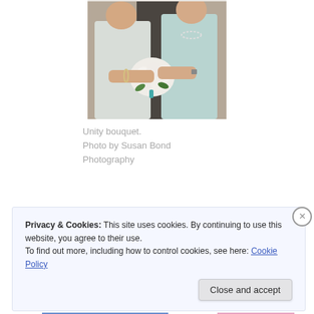[Figure (photo): Two women in light blue/white dresses holding a wedding bouquet with white flowers and a red rose, standing together indoors.]
Unity bouquet.
Photo by Susan Bond Photography
Privacy & Cookies: This site uses cookies. By continuing to use this website, you agree to their use.
To find out more, including how to control cookies, see here: Cookie Policy
Close and accept